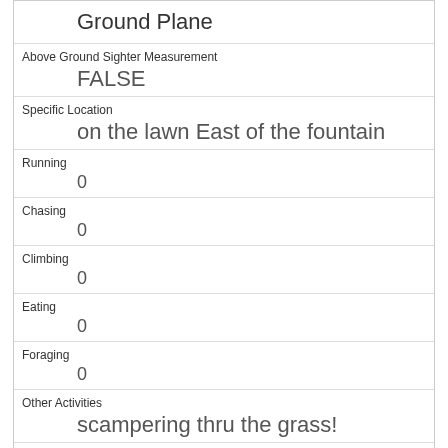Ground Plane
| Above Ground Sighter Measurement | FALSE |
| Specific Location | on the lawn East of the fountain |
| Running | 0 |
| Chasing | 0 |
| Climbing | 0 |
| Eating | 0 |
| Foraging | 0 |
| Other Activities | scampering thru the grass! |
| Kuks | 0 |
| Quaas |  |